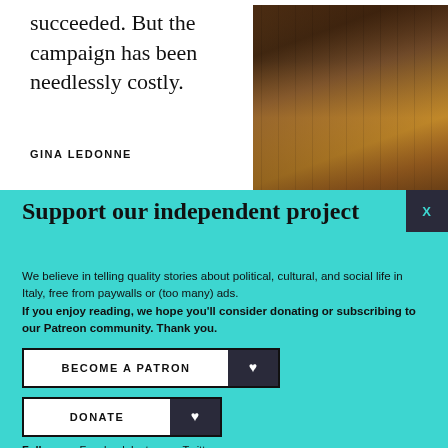succeeded. But the campaign has been needlessly costly.
GINA LEDONNE
[Figure (photo): Photo of old books on library shelves with warm brown tones]
Support our independent project
We believe in telling quality stories about political, cultural, and social life in Italy, free from paywalls or (too many) ads. If you enjoy reading, we hope you'll consider donating or subscribing to our Patreon community. Thank you.
BECOME A PATRON
DONATE
Follow us: Facebook Instagram Twitter